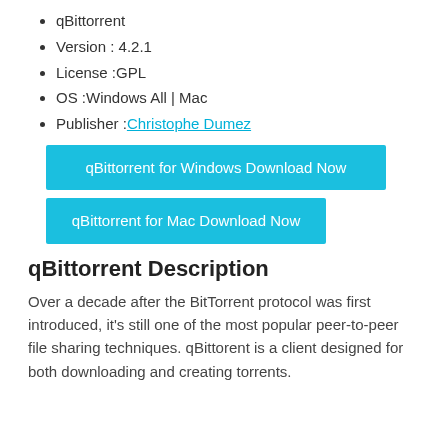qBittorrent
Version : 4.2.1
License :GPL
OS :Windows All | Mac
Publisher :Christophe Dumez
qBittorrent for Windows Download Now
qBittorrent for Mac Download Now
qBittorrent Description
Over a decade after the BitTorrent protocol was first introduced, it’s still one of the most popular peer-to-peer file sharing techniques. qBittorent is a client designed for both downloading and creating torrents.